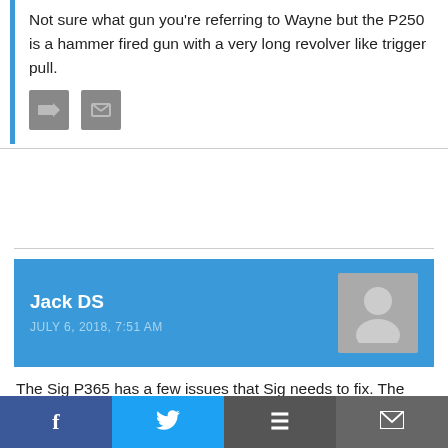Not sure what gun you're referring to Wayne but the P250 is a hammer fired gun with a very long revolver like trigger pull.
[Figure (other): Two small gray action buttons (reply and share icons)]
Jack DS
JULY 6, 2018, 7:51 AM
The Sig P365 has a few issues that Sig needs to fix. The gun itself is a great product. One of the issues is primer printing – the firing pin drags … have been several reports … and the trigger spring
[Figure (other): Social share bar with Facebook, Twitter, Reddit, and Email buttons]